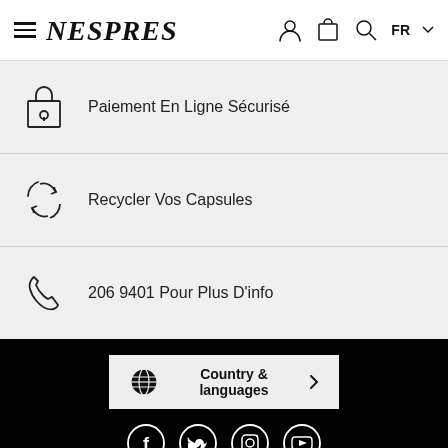Nespresso - Header navigation with hamburger menu, logo, user, cart, search, FR language selector
Paiement En Ligne Sécurisé
Recycler Vos Capsules
206 9401 Pour Plus D'info
[Figure (other): Country & languages button with globe icon and arrow]
[Figure (other): Social media icons: Facebook, Twitter, Instagram, YouTube]